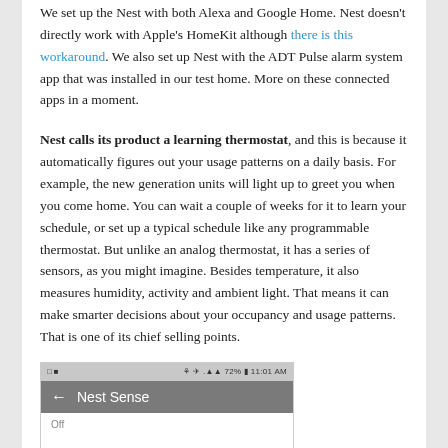We set up the Nest with both Alexa and Google Home. Nest doesn't directly work with Apple's HomeKit although there is this workaround. We also set up Nest with the ADT Pulse alarm system app that was installed in our test home. More on these connected apps in a moment.
Nest calls its product a learning thermostat, and this is because it automatically figures out your usage patterns on a daily basis. For example, the new generation units will light up to greet you when you come home. You can wait a couple of weeks for it to learn your schedule, or set up a typical schedule like any programmable thermostat. But unlike an analog thermostat, it has a series of sensors, as you might imagine. Besides temperature, it also measures humidity, activity and ambient light. That means it can make smarter decisions about your occupancy and usage patterns. That is one of its chief selling points.
[Figure (screenshot): Screenshot of a mobile app showing 'Nest Sense' screen with a back arrow and status bar showing 72% battery and 11:01 AM]